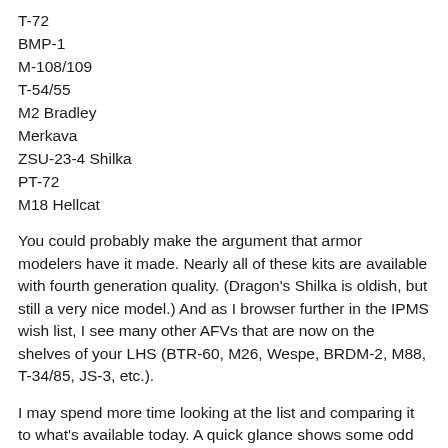T-72
BMP-1
M-108/109
T-54/55
M2 Bradley
Merkava
ZSU-23-4 Shilka
PT-72
M18 Hellcat
You could probably make the argument that armor modelers have it made. Nearly all of these kits are available with fourth generation quality. (Dragon's Shilka is oldish, but still a very nice model.) And as I browser further in the IPMS wish list, I see many other AFVs that are now on the shelves of your LHS (BTR-60, M26, Wespe, BRDM-2, M88, T-34/85, JS-3, etc.).
I may spend more time looking at the list and comparing it to what's available today. A quick glance shows some odd choices from the manufacturers. For example, while over 100 people requested the B-58 only eight requested the F4D